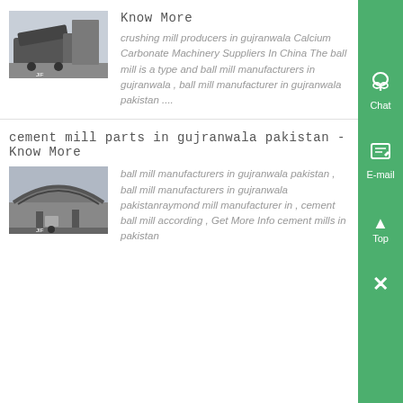[Figure (photo): Industrial crushing mill equipment in a warehouse setting]
Know More
crushing mill producers in gujranwala Calcium Carbonate Machinery Suppliers In China The ball mill is a type and ball mill manufacturers in gujranwala , ball mill manufacturer in gujranwala pakistan ....
cement mill parts in gujranwala pakistan - Know More
[Figure (photo): Large industrial cement mill structure outdoors with workers visible]
ball mill manufacturers in gujranwala pakistan , ball mill manufacturers in gujranwala pakistanraymond mill manufacturer in , cement ball mill according , Get More Info cement mills in pakistan